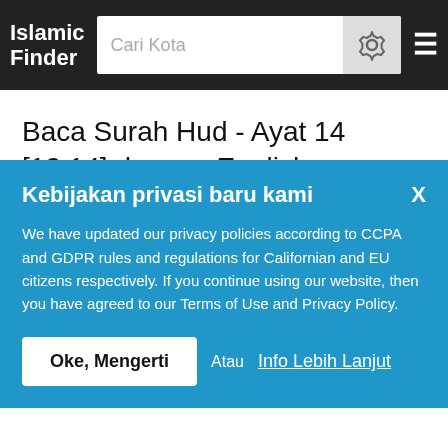Islamic Finder
Baca Surah Hud - Ayat 14 [12:14] dengan English terjemahan oleh Muhammad Taqi-ud-Din al-Hilali and Muhammad Muhsin Khan
Kebijakan privasi baru kami
We have updated our privacy policies according to CCPA and GDPR rules and regulations for Californian and EU citizens respectively. If you continue using our website, then you have agreed to our Terms of Use and Privacy Policy.
Oke, Mengerti   Atau Info Lebih Lanjut